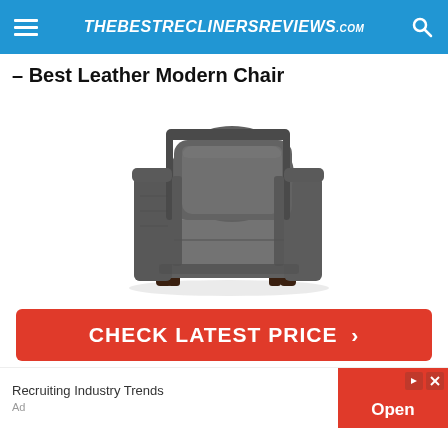THEBESTRECLINERSREVIEWS.com
– Best Leather Modern Chair
[Figure (photo): A modern gray leather armchair with squared arms, a cushioned seat and back, and short dark wooden feet, photographed on a white background.]
CHECK LATEST PRICE ›
Recruiting Industry Trends
Open
Ad